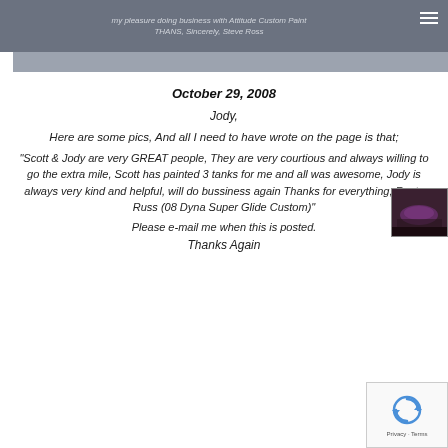my pleasure doing business with Attitude Custom Paint
THANS, Sincerely, Steve Ross
October 29, 2008
Jody,
Here are some pics, And all I need to have wrote on the page is that;
“Scott & Jody are very GREAT people, They are very courtious and always willing to go the extra mile, Scott has painted 3 tanks for me and all was awesome, Jody is always very kind and helpful, will do bussiness again Thanks for everything, Rusty Russ (08 Dyna Super Glide Custom)”
[Figure (photo): Photo of a painted motorcycle tank, appears purple/dark in color]
Please e-mail me when this is posted.
Thanks Again
[Figure (other): reCAPTCHA privacy terms widget showing recycling arrows icon]